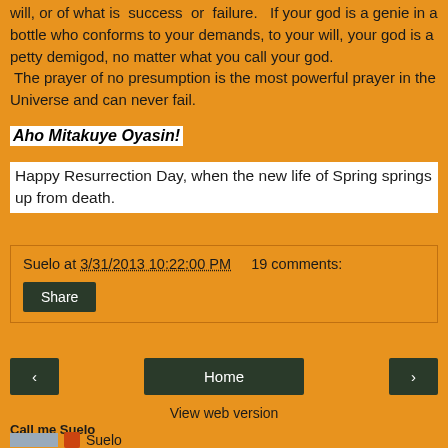will, or of what is  success  or  failure.   If your god is a genie in a bottle who conforms to your demands, to your will, your god is a petty demigod, no matter what you call your god.  The prayer of no presumption is the most powerful prayer in the Universe and can never fail.
Aho Mitakuye Oyasin!
Happy Resurrection Day, when the new life of Spring springs up from death.
Suelo at 3/31/2013 10:22:00 PM    19 comments:
Share
Home
View web version
Call me Suelo
Suelo